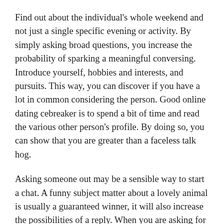Find out about the individual's whole weekend and not just a single specific evening or activity. By simply asking broad questions, you increase the probability of sparking a meaningful conversing. Introduce yourself, hobbies and interests, and pursuits. This way, you can discover if you have a lot in common considering the person. Good online dating cebreaker is to spend a bit of time and read the various other person's profile. By doing so, you can show that you are greater than a faceless talk hog.
Asking someone out may be a sensible way to start a chat. A funny subject matter about a lovely animal is usually a guaranteed winner, it will also increase the possibilities of a reply. When you are asking for a date, always remember to become considerate and witty. Depending https://elitemailorderbrides.com/german-women upon who you are speaking with, you may find that easier to reply to a lighthearted subject matter than